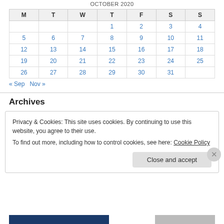| M | T | W | T | F | S | S |
| --- | --- | --- | --- | --- | --- | --- |
|  |  |  | 1 | 2 | 3 | 4 |
| 5 | 6 | 7 | 8 | 9 | 10 | 11 |
| 12 | 13 | 14 | 15 | 16 | 17 | 18 |
| 19 | 20 | 21 | 22 | 23 | 24 | 25 |
| 26 | 27 | 28 | 29 | 30 | 31 |  |
« Sep   Nov »
Archives
Privacy & Cookies: This site uses cookies. By continuing to use this website, you agree to their use.
To find out more, including how to control cookies, see here: Cookie Policy
Close and accept